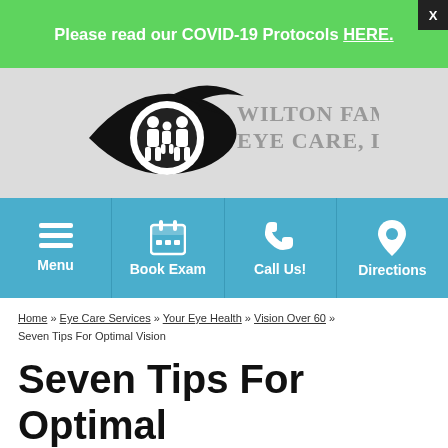Please read our COVID-19 Protocols HERE.
[Figure (logo): Wilton Family Eye Care LLC logo — eye illustration with family silhouette inside, and text 'Wilton Family Eye Care, LLC']
[Figure (infographic): Navigation bar with four items: Menu (hamburger icon), Book Exam (calendar icon), Call Us! (phone icon), Directions (map pin icon)]
Home » Eye Care Services » Your Eye Health » Vision Over 60 » Seven Tips For Optimal Vision
Seven Tips For Optimal Vision